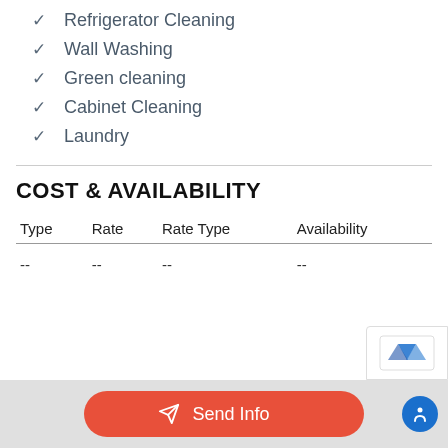Refrigerator Cleaning
Wall Washing
Green cleaning
Cabinet Cleaning
Laundry
COST & AVAILABILITY
| Type | Rate | Rate Type | Availability |
| --- | --- | --- | --- |
| -- | -- | -- | -- |
Send Info